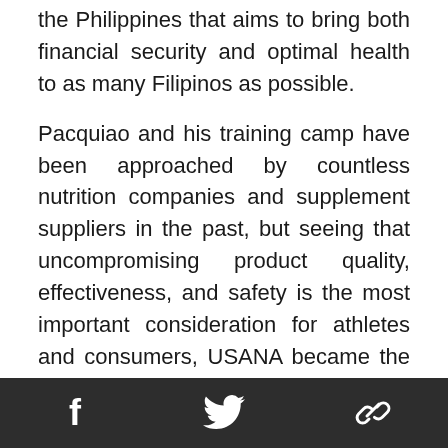the Philippines that aims to bring both financial security and optimal health to as many Filipinos as possible.
Pacquiao and his training camp have been approached by countless nutrition companies and supplement suppliers in the past, but seeing that uncompromising product quality, effectiveness, and safety is the most important consideration for athletes and consumers, USANA became the obvious choice for Pacquiao’s personal nutritional regimen.
“Based on Alex’s experience and expertise, he
Social share bar with Facebook, Twitter, and link icons